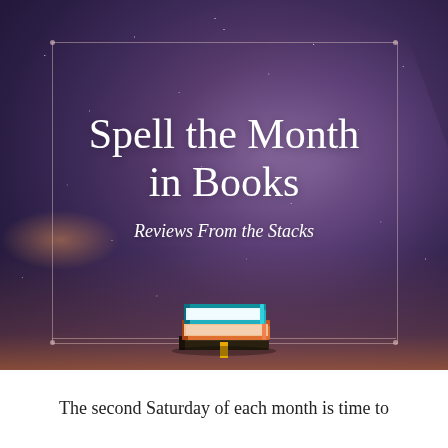[Figure (illustration): Night sky background with stars and milky way, decorative inner border with corner dots, stacked books emoji illustration, with title 'Spell the Month in Books' and subtitle 'Reviews From the Stacks']
Spell the Month in Books
Reviews From the Stacks
The second Saturday of each month is time to